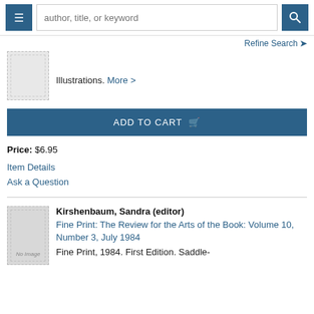author, title, or keyword
Refine Search
Illustrations. More >
ADD TO CART
Price: $6.95
Item Details
Ask a Question
Kirshenbaum, Sandra (editor)
Fine Print: The Review for the Arts of the Book: Volume 10, Number 3, July 1984
Fine Print, 1984. First Edition. Saddle-